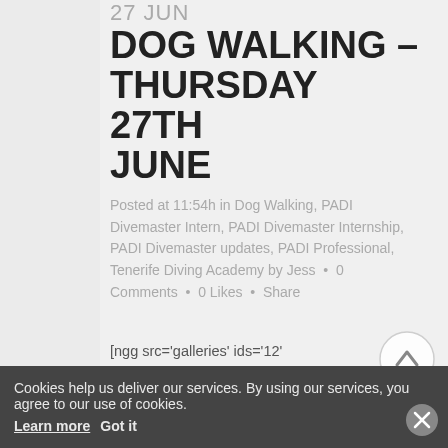27 JUN DOG WALKING – THURSDAY 27TH JUNE
Posted at 11:54h in Dog Walking, PADI Divemaster Intern, PADI Divemaster Internship, PADI Divemaster updates, PADI Professional, Tenerife Diving Academy by Jess • 0 Comments • 0 Likes • Share
[ngg src='galleries' ids='12' display='basic_slideshow' interval='2000'] Another successful outing with the pups. Some new faces
Cookies help us deliver our services. By using our services, you agree to our use of cookies. Learn more Got it